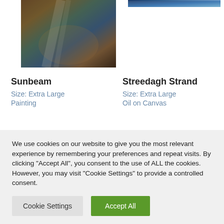[Figure (photo): Painting of a forest path with warm autumn colors and blue/grey tones, oil on canvas style]
[Figure (photo): Partial view of painting with blue ocean/coastal tones at top right]
Sunbeam
Size: Extra Large
Painting
Streedagh Strand
Size: Extra Large
Oil on Canvas
We use cookies on our website to give you the most relevant experience by remembering your preferences and repeat visits. By clicking "Accept All", you consent to the use of ALL the cookies. However, you may visit "Cookie Settings" to provide a controlled consent.
Cookie Settings
Accept All